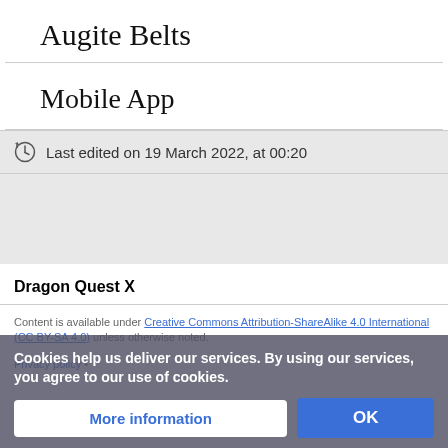Augite Belts
Mobile App
Last edited on 19 March 2022, at 00:20
Dragon Quest X
Content is available under Creative Commons Attribution-ShareAlike 4.0 International (CC BY-SA 4.0) unless otherwise noted.
Privacy policy • More information OK
Cookies help us deliver our services. By using our services, you agree to our use of cookies.